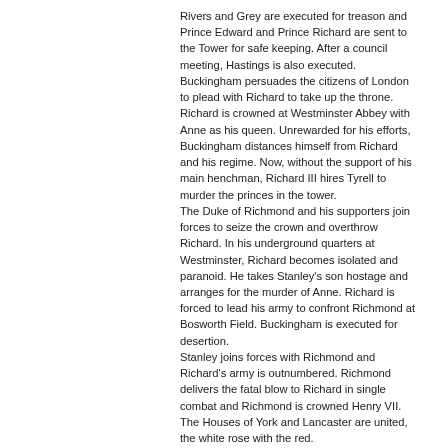Rivers and Grey are executed for treason and Prince Edward and Prince Richard are sent to the Tower for safe keeping. After a council meeting, Hastings is also executed. Buckingham persuades the citizens of London to plead with Richard to take up the throne. Richard is crowned at Westminster Abbey with Anne as his queen. Unrewarded for his efforts, Buckingham distances himself from Richard and his regime. Now, without the support of his main henchman, Richard III hires Tyrell to murder the princes in the tower.
The Duke of Richmond and his supporters join forces to seize the crown and overthrow Richard. In his underground quarters at Westminster, Richard becomes isolated and paranoid. He takes Stanley's son hostage and arranges for the murder of Anne. Richard is forced to lead his army to confront Richmond at Bosworth Field. Buckingham is executed for desertion.
Stanley joins forces with Richmond and Richard's army is outnumbered. Richmond delivers the fatal blow to Richard in single combat and Richmond is crowned Henry VII.
The Houses of York and Lancaster are united, the white rose with the red.